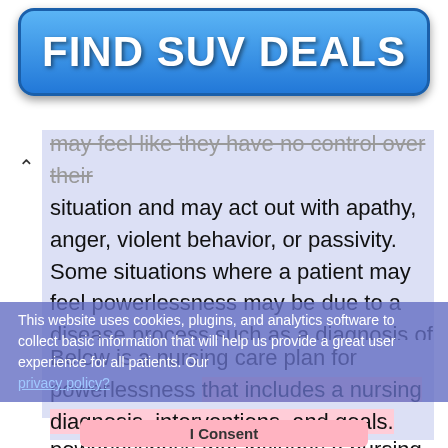[Figure (other): Blue gradient advertisement banner with bold white text reading FIND SUV DEALS]
may feel like they have no control over their situation and may act out with apathy, anger, violent behavior, or passivity. Some situations where a patient may feel powerlessness may be due to a disease process such as a diagnosis of congestive heart failure or terminal cancer. In addition, patients who have loss the ability to perform daily activities of living due to a stroke or amputation may feel powerlessness.
Below is a nursing care plan for powerlessness that includes a nursing diagnosis, interventions, and goals.
What are nursing care plans? How do you develop